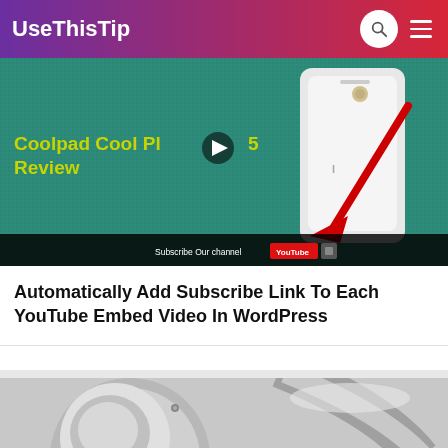UseThisTip
[Figure (screenshot): YouTube embed video thumbnail showing 'Coolpad Cool Play 5 Review' with a red arrow pointing to a YouTube subscribe button bar at the bottom]
Automatically Add Subscribe Link To Each YouTube Embed Video In WordPress
[Figure (photo): Close-up of metallic/chrome headphones or circular metal object]